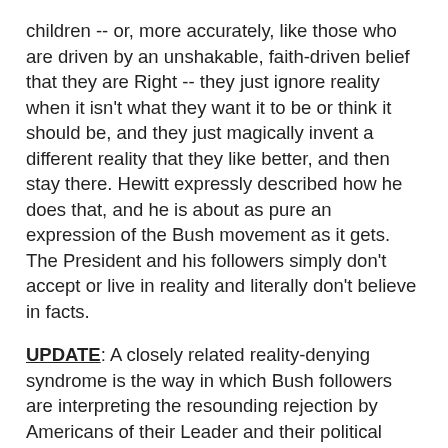children -- or, more accurately, like those who are driven by an unshakable, faith-driven belief that they are Right -- they just ignore reality when it isn't what they want it to be or think it should be, and they just magically invent a different reality that they like better, and then stay there. Hewitt expressly described how he does that, and he is about as pure an expression of the Bush movement as it gets. The President and his followers simply don't accept or live in reality and literally don't believe in facts.
UPDATE: A closely related reality-denying syndrome is the way in which Bush followers are interpreting the resounding rejection by Americans of their Leader and their political movement as some sort of endorsement of all of the particular views of Bush followers - as in: "hey, Republicans were crushed because they weren't extreme enough and didn't pursue my fanatical views enough on Issue X, Y and Z."
With this twisted reasoning in place, the most virulent supporters of the Iraq War are actually claiming that the election affirms that most Americans agree with them. Just